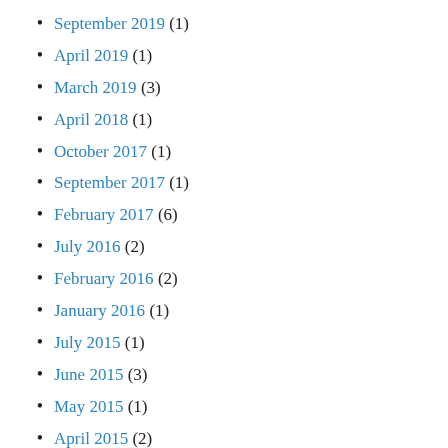September 2019 (1)
April 2019 (1)
March 2019 (3)
April 2018 (1)
October 2017 (1)
September 2017 (1)
February 2017 (6)
July 2016 (2)
February 2016 (2)
January 2016 (1)
July 2015 (1)
June 2015 (3)
May 2015 (1)
April 2015 (2)
March 2015 (2)
February 2015 (1)